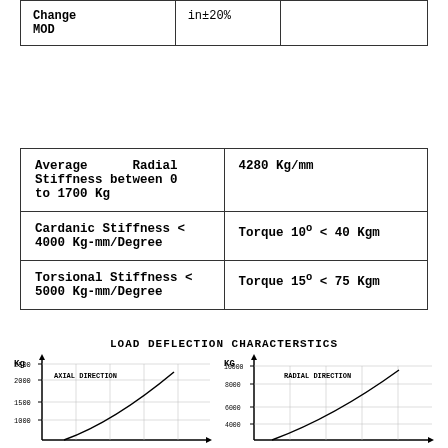| Change MOD | in±20% |
| --- | --- |
| Change MOD | in±20% |
| Property | Value |
| --- | --- |
| Average Radial Stiffness between 0 to 1700 Kg | 4280 Kg/mm |
| Cardanic Stiffness < 4000 Kg-mm/Degree | Torque 10° < 40 Kgm |
| Torsional Stiffness < 5000 Kg-mm/Degree | Torque 15° < 75 Kgm |
LOAD DEFLECTION CHARACTERSTICS
[Figure (continuous-plot): Load deflection chart - Axial Direction. Y-axis labeled Kg with values 1000, 1500, 2000, 2500. X-axis unlabeled. Shows a diagonal curve increasing from lower left to upper right.]
[Figure (continuous-plot): Load deflection chart - Radial Direction. Y-axis labeled KG with values 4000, 6000, 8000, 10000. X-axis unlabeled. Shows a diagonal curve increasing from lower left to upper right.]